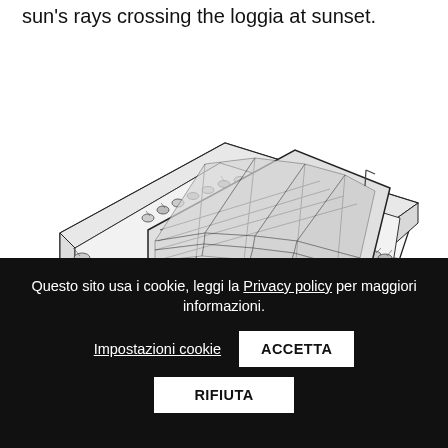sun's rays crossing the loggia at sunset.
[Figure (engineering-diagram): Isometric architectural drawing of a building rooftop showing a solar panel array arranged in a grid pattern on the roof, surrounded by a green roof with vegetation/plants around the perimeter. The building has windows visible on the right side. Line art style, black and white.]
Questo sito usa i cookie, leggi la Privacy policy per maggiori informazioni. Impostazioni cookie ACCETTA RIFIUTA